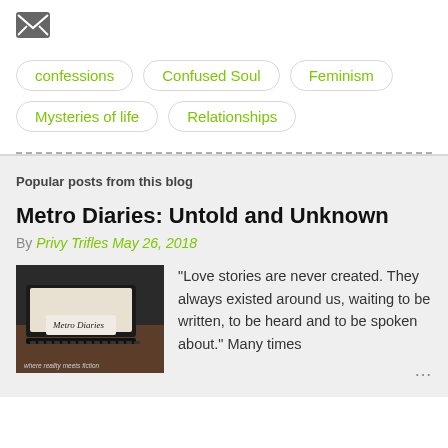[Figure (illustration): Mail/envelope icon in grey square button]
confessions
Confused Soul
Feminism
Mysteries of life
Relationships
Popular posts from this blog
Metro Diaries: Untold and Unknown
By Privy Trifles May 26, 2018
[Figure (photo): Photo of a laptop with a 'Metro Diaries' sign, text says 'where reality meets fiction']
"Love stories are never created. They always existed around us, waiting to be written, to be heard and to be spoken about." Many times …